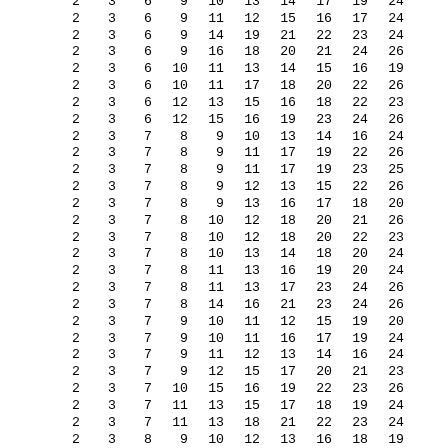| 2 | 3 | 6 | 9 | 10 | 13 | 14 | 17 | 19 | 24 |
| 2 | 3 | 6 | 9 | 11 | 12 | 15 | 16 | 17 | 24 |
| 2 | 3 | 6 | 9 | 14 | 19 | 21 | 22 | 23 | 24 |
| 2 | 3 | 6 | 9 | 16 | 18 | 20 | 21 | 24 | 26 |
| 2 | 3 | 6 | 10 | 11 | 13 | 14 | 15 | 16 | 19 |
| 2 | 3 | 6 | 10 | 11 | 17 | 18 | 20 | 22 | 26 |
| 2 | 3 | 6 | 12 | 13 | 15 | 16 | 18 | 22 | 23 |
| 2 | 3 | 6 | 12 | 15 | 16 | 19 | 23 | 24 | 26 |
| 2 | 3 | 7 | 8 | 9 | 10 | 13 | 14 | 16 | 24 |
| 2 | 3 | 7 | 8 | 9 | 11 | 17 | 19 | 22 | 26 |
| 2 | 3 | 7 | 8 | 9 | 11 | 17 | 19 | 23 | 25 |
| 2 | 3 | 7 | 8 | 9 | 12 | 13 | 15 | 22 | 26 |
| 2 | 3 | 7 | 8 | 9 | 13 | 16 | 17 | 18 | 20 |
| 2 | 3 | 7 | 8 | 10 | 12 | 18 | 20 | 21 | 26 |
| 2 | 3 | 7 | 8 | 10 | 12 | 18 | 20 | 22 | 23 |
| 2 | 3 | 7 | 8 | 10 | 13 | 14 | 18 | 20 | 24 |
| 2 | 3 | 7 | 8 | 11 | 13 | 16 | 19 | 20 | 24 |
| 2 | 3 | 7 | 8 | 11 | 13 | 17 | 23 | 24 | 26 |
| 2 | 3 | 7 | 8 | 14 | 16 | 21 | 23 | 24 | 26 |
| 2 | 3 | 7 | 9 | 10 | 11 | 12 | 15 | 19 | 20 |
| 2 | 3 | 7 | 9 | 10 | 11 | 16 | 17 | 19 | 24 |
| 2 | 3 | 7 | 9 | 11 | 12 | 13 | 14 | 16 | 24 |
| 2 | 3 | 7 | 9 | 12 | 15 | 17 | 20 | 21 | 23 |
| 2 | 3 | 7 | 10 | 15 | 16 | 19 | 22 | 23 | 26 |
| 2 | 3 | 7 | 11 | 13 | 15 | 17 | 18 | 19 | 24 |
| 2 | 3 | 7 | 11 | 13 | 18 | 21 | 22 | 23 | 24 |
| 2 | 3 | 8 | 9 | 10 | 12 | 13 | 16 | 18 | 19 |
| 2 | 3 | 8 | 9 | 11 | 12 | 13 | 19 | 21 | 23 |
| 2 | 3 | 8 | 9 | 11 | 14 | 18 | 20 | 22 | 23 |
| 2 | 3 | 8 | 9 | 12 | 13 | 14 | 15 | 16 | 20 |